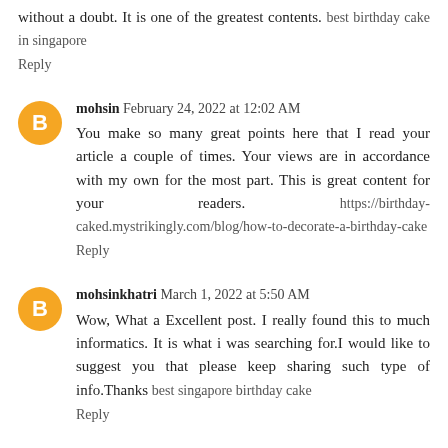without a doubt. It is one of the greatest contents. best birthday cake in singapore
Reply
mohsin  February 24, 2022 at 12:02 AM
You make so many great points here that I read your article a couple of times. Your views are in accordance with my own for the most part. This is great content for your readers. https://birthday-caked.mystrikingly.com/blog/how-to-decorate-a-birthday-cake
Reply
mohsinkhatri  March 1, 2022 at 5:50 AM
Wow, What a Excellent post. I really found this to much informatics. It is what i was searching for.I would like to suggest you that please keep sharing such type of info.Thanks best singapore birthday cake
Reply